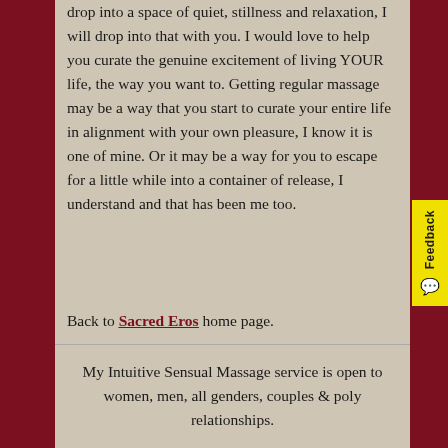drop into a space of quiet, stillness and relaxation, I will drop into that with you. I would love to help you curate the genuine excitement of living YOUR life, the way you want to. Getting regular massage may be a way that you start to curate your entire life in alignment with your own pleasure, I know it is one of mine. Or it may be a way for you to escape for a little while into a container of release, I understand and that has been me too.
Back to Sacred Eros home page.
My Intuitive Sensual Massage service is open to women, men, all genders, couples & poly relationships.